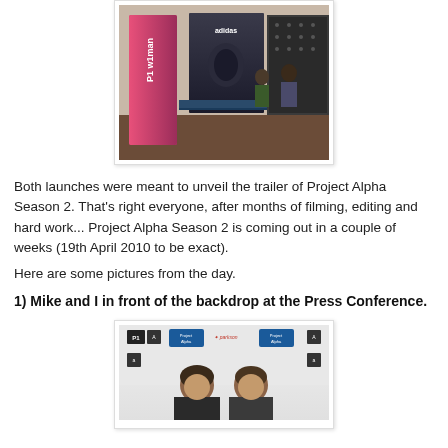[Figure (photo): Photo of a trade show or event booth with a P1 Wiman banner (pink/purple) on the left, an Adidas display in the center, and people standing at a table in an exhibition hall.]
Both launches were meant to unveil the trailer of Project Alpha Season 2. That's right everyone, after months of filming, editing and hard work... Project Alpha Season 2 is coming out in a couple of weeks (19th April 2010 to be exact).
Here are some pictures from the day.
1) Mike and I in front of the backdrop at the Press Conference.
[Figure (photo): Photo of two people standing in front of a Project Alpha Season 2 backdrop with sponsor logos including P1, Project Alpha, Parkson, and others. Two young men pose for the camera.]